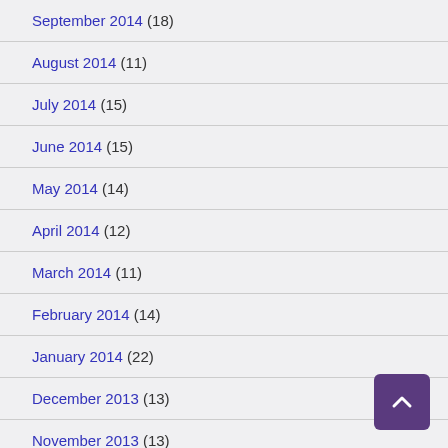September 2014 (18)
August 2014 (11)
July 2014 (15)
June 2014 (15)
May 2014 (14)
April 2014 (12)
March 2014 (11)
February 2014 (14)
January 2014 (22)
December 2013 (13)
November 2013 (13)
October 2013 (11)